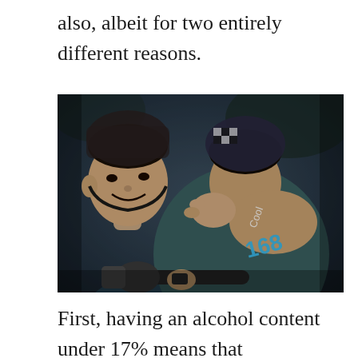also, albeit for two entirely different reasons.
[Figure (photo): Two people riding a motorcycle. The person in front is a young Asian man wearing a dark jacket and a helmet. The person behind leans forward. A blue logo reading 'Cool 168' is visible on the back/arm of the rear rider.]
First, having an alcohol content under 17% means that commercials can be screened on television after 10pm, and hence that the